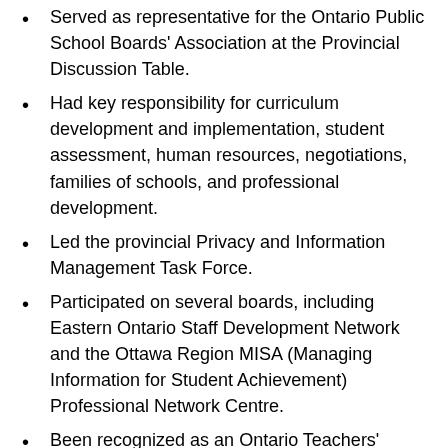Served as representative for the Ontario Public School Boards' Association at the Provincial Discussion Table.
Had key responsibility for curriculum development and implementation, student assessment, human resources, negotiations, families of schools, and professional development.
Led the provincial Privacy and Information Management Task Force.
Participated on several boards, including Eastern Ontario Staff Development Network and the Ottawa Region MISA (Managing Information for Student Achievement) Professional Network Centre.
Been recognized as an Ontario Teachers' Federation Fellow.
Had many years of involvement in leading local and provincial teacher federations.
Hastings and Prince Edward District School Board serves more than 15,700 students each day at 46 elementary and